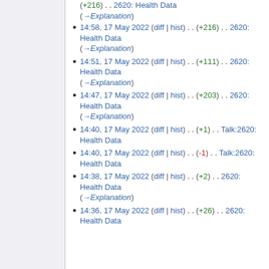(+216) . . 2620: Health Data (→Explanation) [partial top]
14:58, 17 May 2022 (diff | hist) . . (+216) . . 2620: Health Data (→Explanation)
14:51, 17 May 2022 (diff | hist) . . (+111) . . 2620: Health Data (→Explanation)
14:47, 17 May 2022 (diff | hist) . . (+203) . . 2620: Health Data (→Explanation)
14:40, 17 May 2022 (diff | hist) . . (+1) . . Talk:2620: Health Data
14:40, 17 May 2022 (diff | hist) . . (-1) . . Talk:2620: Health Data
14:38, 17 May 2022 (diff | hist) . . (+2) . . 2620: Health Data (→Explanation)
14:36, 17 May 2022 (diff | hist) . . (+26) . . 2620: Health Data